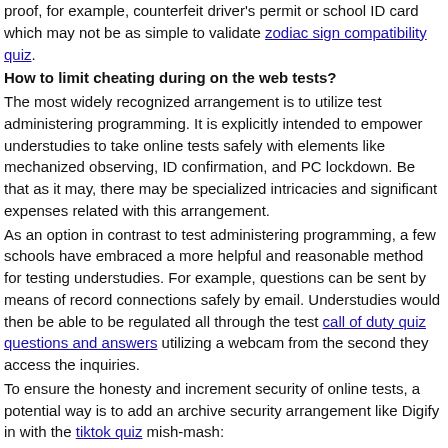proof, for example, counterfeit driver's permit or school ID card which may not be as simple to validate zodiac sign compatibility quiz.
How to limit cheating during on the web tests?
The most widely recognized arrangement is to utilize test administering programming. It is explicitly intended to empower understudies to take online tests safely with elements like mechanized observing, ID confirmation, and PC lockdown. Be that as it may, there may be specialized intricacies and significant expenses related with this arrangement.
As an option in contrast to test administering programming, a few schools have embraced a more helpful and reasonable method for testing understudies. For example, questions can be sent by means of record connections safely by email. Understudies would then be able to be regulated all through the test call of duty quiz questions and answers utilizing a webcam from the second they access the inquiries.
To ensure the honesty and increment security of online tests, a potential way is to add an archive security arrangement like Digify in with the tiktok quiz mish-mash:
Limit who can get to the inquiry and disavow access whenever. You can likewise add email check as an additional a layer of safety to guarantee confirmation.
Fall to pieces the test reports inside a set chance decency of the test term for all test temperament quiz